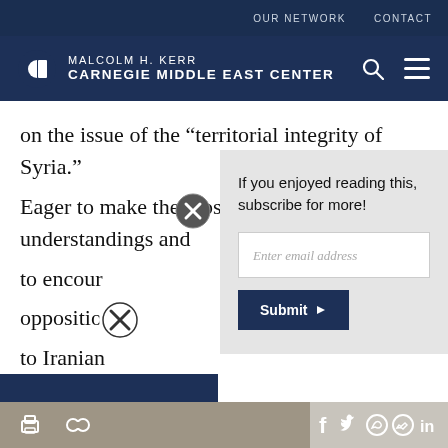OUR NETWORK   CONTACT
MALCOLM H. KERR CARNEGIE MIDDLE EAST CENTER
on the issue of the “territorial integrity of Syria.” Eager to make the most of such understandings and to encour… opposition… to Iranian…
If you enjoyed reading this, subscribe for more!
Enter email address
Submit